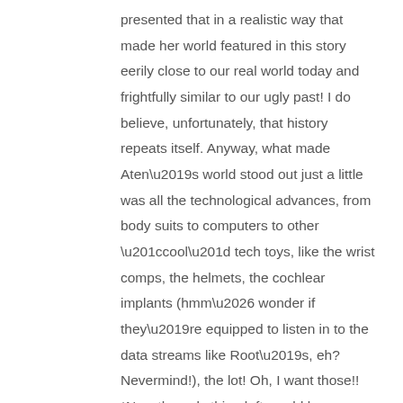presented that in a realistic way that made her world featured in this story eerily close to our real world today and frightfully similar to our ugly past! I do believe, unfortunately, that history repeats itself. Anyway, what made Aten’s world stood out just a little was all the technological advances, from body suits to computers to other “cool” tech toys, like the wrist comps, the helmets, the cochlear implants (hmm… wonder if they’re equipped to listen in to the data streams like Root’s, eh? Nevermind!), the lot! Oh, I want those!! *Now the only thing left would be some COOL gogs, innit?* Aten’s description of the techno-world was visual, filled with techno jargons which I absolutely